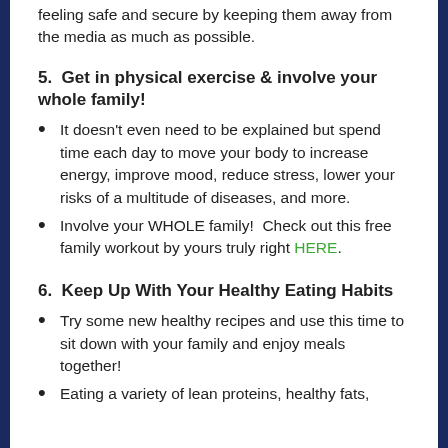feeling safe and secure by keeping them away from the media as much as possible.
5.  Get in physical exercise & involve your whole family!
It doesn't even need to be explained but spend time each day to move your body to increase energy, improve mood, reduce stress, lower your risks of a multitude of diseases, and more.
Involve your WHOLE family!  Check out this free family workout by yours truly right HERE.
6.  Keep Up With Your Healthy Eating Habits
Try some new healthy recipes and use this time to sit down with your family and enjoy meals together!
Eating a variety of lean proteins, healthy fats,